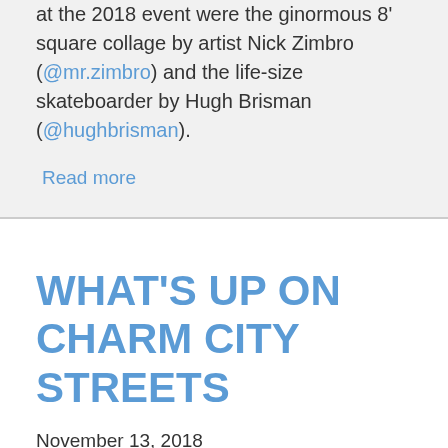at the 2018 event were the ginormous 8' square collage by artist Nick Zimbro (@mr.zimbro) and the life-size skateboarder by Hugh Brisman (@hughbrisman).
Read more
WHAT'S UP ON CHARM CITY STREETS
November 13, 2018